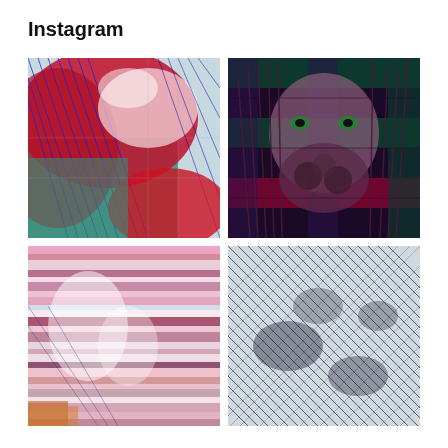Instagram
[Figure (illustration): Abstract digital art collage with red, blue, white and teal colors showing layered imagery with halftone and glitch effects]
[Figure (illustration): Dark woodcut-style illustration of a face with long hair, purple and green tones on dark background with plaid pattern]
[Figure (illustration): Abstract horizontal striped glitch art in pink, white, blue and brown tones with distorted imagery]
[Figure (illustration): Black and white diagonal crosshatch pattern artwork with shadowy figures]